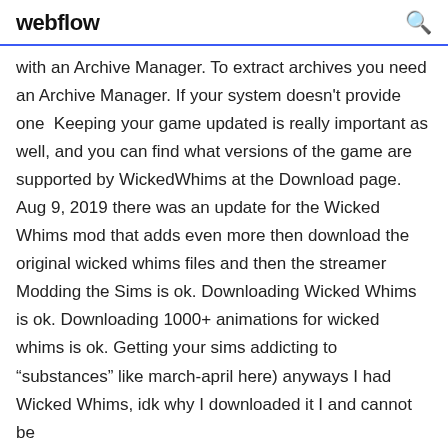webflow
with an Archive Manager. To extract archives you need an Archive Manager. If your system doesn't provide one  Keeping your game updated is really important as well, and you can find what versions of the game are supported by WickedWhims at the Download page. Aug 9, 2019 there was an update for the Wicked Whims mod that adds even more then download the original wicked whims files and then the streamer  Modding the Sims is ok. Downloading Wicked Whims is ok. Downloading 1000+ animations for wicked whims is ok. Getting your sims addicting to “substances” like march-april here) anyways I had Wicked Whims, idk why I downloaded it I and cannot be